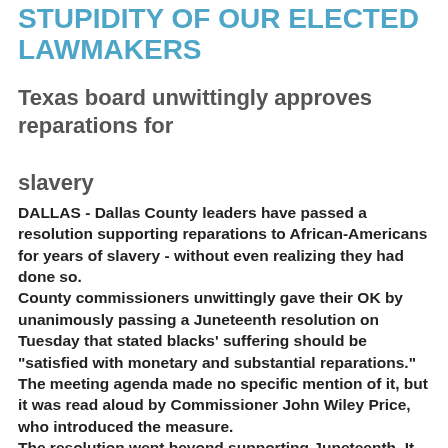STUPIDITY OF OUR ELECTED LAWMAKERS
Texas board unwittingly approves reparations for slavery
DALLAS - Dallas County leaders have passed a resolution supporting reparations to African-Americans for years of slavery - without even realizing they had done so. County commissioners unwittingly gave their OK by unanimously passing a Juneteenth resolution on Tuesday that stated blacks' suffering should be "satisfied with monetary and substantial reparations." The meeting agenda made no specific mention of it, but it was read aloud by Commissioner John Wiley Price, who introduced the measure. The resolution went beyond supporting Juneteenth. It included a list of injustices endured by blacks before it endorsed reparations in the final paragraph. The Dallas Morning News reports other commissioners